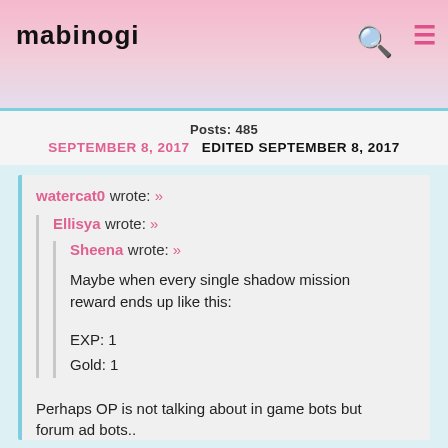mabinogi
Posts: 485
SEPTEMBER 8, 2017   EDITED SEPTEMBER 8, 2017
watercat0 wrote: »
  Ellisya wrote: »
    Sheena wrote: »
    Maybe when every single shadow mission reward ends up like this:
    EXP: 1
    Gold: 1

Perhaps OP is not talking about in game bots but forum ad bots..